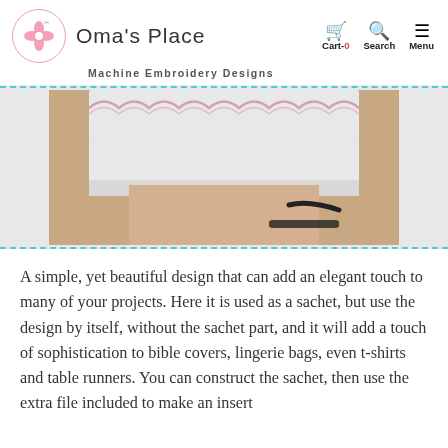Oma's Place — Machine Embroidery Designs
[Figure (photo): Photo of a white embroidered sachet fabric displayed over a cardboard box, showing delicate scalloped embroidery trim along the top edge]
A simple, yet beautiful design that can add an elegant touch to many of your projects. Here it is used as a sachet, but use the design by itself, without the sachet part, and it will add a touch of sophistication to bible covers, lingerie bags, even t-shirts and table runners. You can construct the sachet, then use the extra file included to make an insert